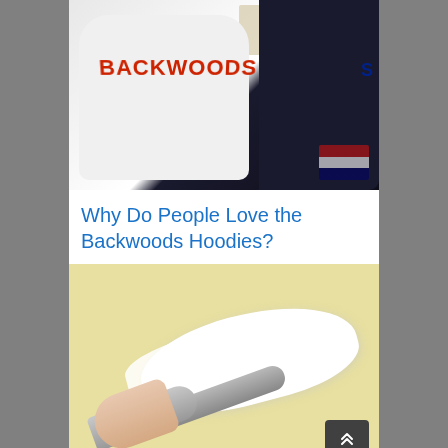[Figure (photo): White hoodie with red 'BACKWOODS' text arched across the chest, dark navy hoodie beside it, with newspaper in background]
Why Do People Love the Backwoods Hoodies?
[Figure (photo): Hand holding a metal spatula/palette knife spreading white cream on a yellow background]